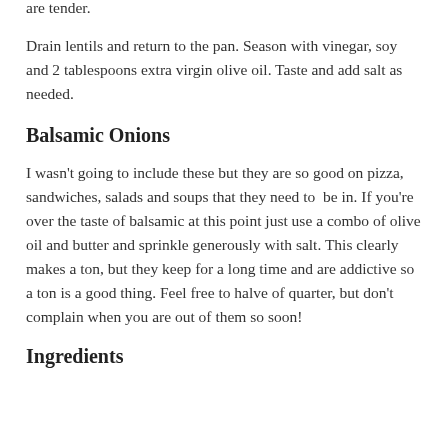Remove lid and simmer for 10-15 minutes or until the lentils are tender.
Drain lentils and return to the pan. Season with vinegar, soy and 2 tablespoons extra virgin olive oil. Taste and add salt as needed.
Balsamic Onions
I wasn't going to include these but they are so good on pizza, sandwiches, salads and soups that they need to  be in. If you're over the taste of balsamic at this point just use a combo of olive oil and butter and sprinkle generously with salt. This clearly makes a ton, but they keep for a long time and are addictive so a ton is a good thing. Feel free to halve of quarter, but don't complain when you are out of them so soon!
Ingredients